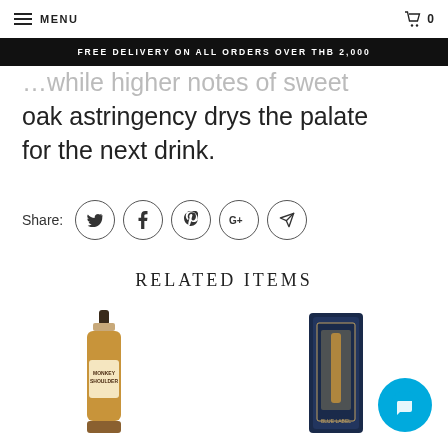MENU  0
FREE DELIVERY ON ALL ORDERS OVER THB 2,000
…while higher notes of sweet oak astringency drys the palate for the next drink.
Share:
RELATED ITEMS
[Figure (photo): Bottle of Monkey Shoulder blended malt Scotch whisky]
[Figure (photo): Johnnie Walker Blue Label whisky in box packaging]